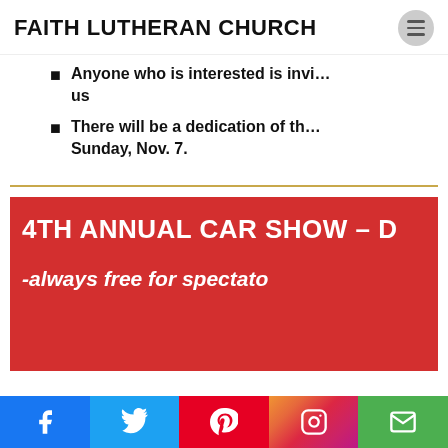FAITH LUTHERAN CHURCH
Anyone who is interested is invited to join us
There will be a dedication of the … Sunday, Nov. 7.
[Figure (infographic): Red banner with white text: 4TH ANNUAL CAR SHOW – [truncated] and subtitle: -always free for spectato[rs]]
Social media links: Facebook, Twitter, Pinterest, Instagram, Email